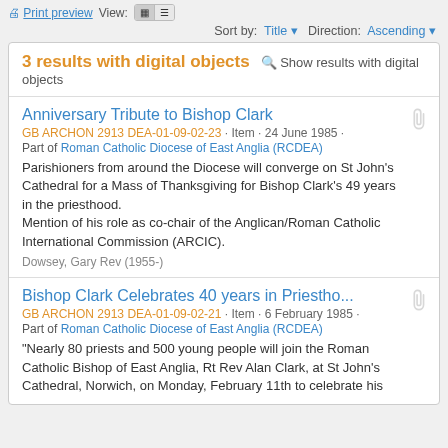Print preview  View:  Sort by: Title ▼  Direction: Ascending ▼
3 results with digital objects  🔍 Show results with digital objects
Anniversary Tribute to Bishop Clark
GB ARCHON 2913 DEA-01-09-02-23 · Item · 24 June 1985 · Part of Roman Catholic Diocese of East Anglia (RCDEA)
Parishioners from around the Diocese will converge on St John's Cathedral for a Mass of Thanksgiving for Bishop Clark's 49 years in the priesthood.
Mention of his role as co-chair of the Anglican/Roman Catholic International Commission (ARCIC).
Dowsey, Gary Rev (1955-)
Bishop Clark Celebrates 40 years in Priestho...
GB ARCHON 2913 DEA-01-09-02-21 · Item · 6 February 1985 · Part of Roman Catholic Diocese of East Anglia (RCDEA)
"Nearly 80 priests and 500 young people will join the Roman Catholic Bishop of East Anglia, Rt Rev Alan Clark, at St John's Cathedral, Norwich, on Monday, February 11th to celebrate his